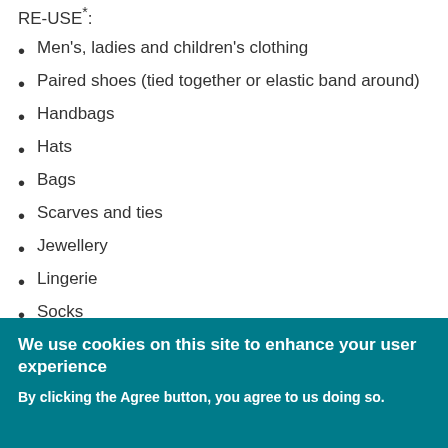RE-USE*:
Men's, ladies and children's clothing
Paired shoes (tied together or elastic band around)
Handbags
Hats
Bags
Scarves and ties
Jewellery
Lingerie
Socks
Belts
Soft toys
Household linen
We use cookies on this site to enhance your user experience

By clicking the Agree button, you agree to us doing so.